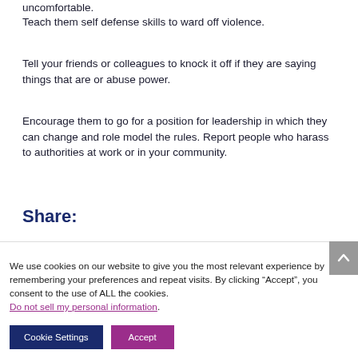uncomfortable.
Teach them self defense skills to ward off violence.
Tell your friends or colleagues to knock it off if they are saying things that are or abuse power.
Encourage them to go for a position for leadership in which they can change and role model the rules. Report people who harass to authorities at work or in your community.
Share:
We use cookies on our website to give you the most relevant experience by remembering your preferences and repeat visits. By clicking “Accept”, you consent to the use of ALL the cookies.
Do not sell my personal information.